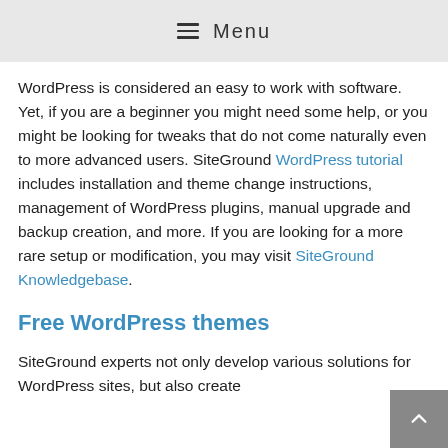☰ Menu
WordPress is considered an easy to work with software. Yet, if you are a beginner you might need some help, or you might be looking for tweaks that do not come naturally even to more advanced users. SiteGround WordPress tutorial includes installation and theme change instructions, management of WordPress plugins, manual upgrade and backup creation, and more. If you are looking for a more rare setup or modification, you may visit SiteGround Knowledgebase.
Free WordPress themes
SiteGround experts not only develop various solutions for WordPress sites, but also create